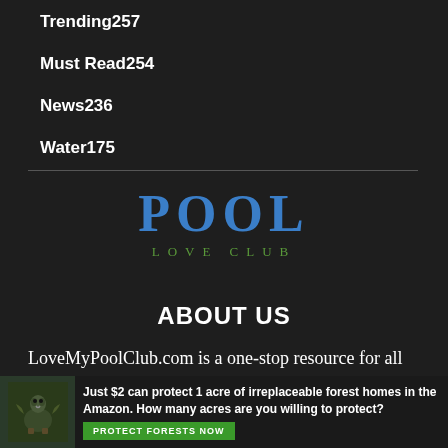Trending257
Must Read254
News236
Water175
POOL
LOVE CLUB
ABOUT US
LoveMyPoolClub.com is a one-stop resource for all information about pools. All in one place.
[Figure (infographic): Advertisement banner: bird/wildlife image on left, text 'Just $2 can protect 1 acre of irreplaceable forest homes in the Amazon. How many acres are you willing to protect?' with green 'PROTECT FORESTS NOW' button]